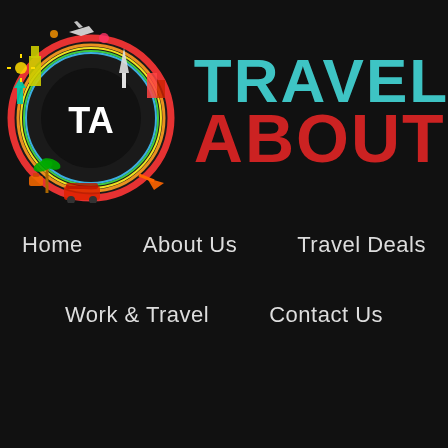[Figure (logo): Travel About logo with circular globe illustration featuring colorful landmarks and silhouettes, with 'TA' in the center circle. To the right, brand name 'TRAVEL' in teal and 'ABOUT' in red bold uppercase text.]
Home
About Us
Travel Deals
Work & Travel
Contact Us